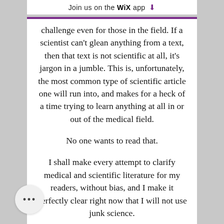Join us on the WiX app ⬇
challenge even for those in the field. If a scientist can't glean anything from a text, then that text is not scientific at all, it's jargon in a jumble. This is, unfortunately, the most common type of scientific article one will run into, and makes for a heck of a time trying to learn anything at all in or out of the medical field.

No one wants to read that.

I shall make every attempt to clarify medical and scientific literature for my readers, without bias, and I make it perfectly clear right now that I will not use junk science.